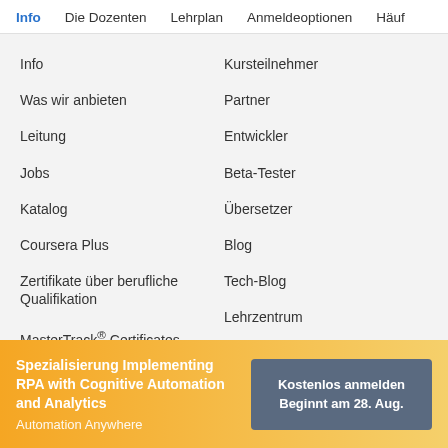Info   Die Dozenten   Lehrplan   Anmeldeoptionen   Häuf
Info
Was wir anbieten
Leitung
Jobs
Katalog
Coursera Plus
Zertifikate über berufliche Qualifikation
MasterTrack® Certificates
Abschlüsse
Für Unternehmen
Kursteilnehmer
Partner
Entwickler
Beta-Tester
Übersetzer
Blog
Tech-Blog
Lehrzentrum
Spezialisierung Implementing RPA with Cognitive Automation and Analytics
Automation Anywhere
Kostenlos anmelden
Beginnt am 28. Aug.